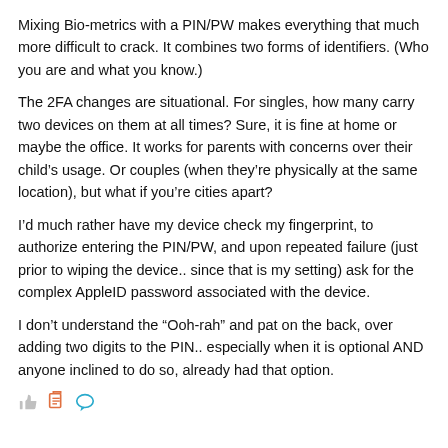Mixing Bio-metrics with a PIN/PW makes everything that much more difficult to crack. It combines two forms of identifiers. (Who you are and what you know.)
The 2FA changes are situational. For singles, how many carry two devices on them at all times? Sure, it is fine at home or maybe the office. It works for parents with concerns over their child's usage. Or couples (when they're physically at the same location), but what if you're cities apart?
I'd much rather have my device check my fingerprint, to authorize entering the PIN/PW, and upon repeated failure (just prior to wiping the device.. since that is my setting) ask for the complex AppleID password associated with the device.
I don't understand the “Ooh-rah” and pat on the back, over adding two digits to the PIN.. especially when it is optional AND anyone inclined to do so, already had that option.
[Figure (other): Row of social interaction icons: thumbs up, share/bookmark, and comment bubble]